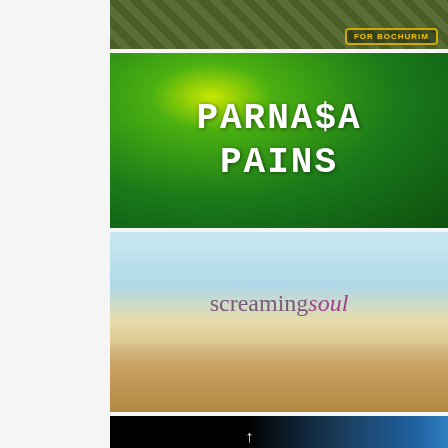[Figure (photo): Camouflage background with a yellow-bordered patch reading FOR BOCHURIM, partially visible at top]
[Figure (photo): Dark green textured background with large white text reading PARNA$A PAINS]
[Figure (photo): Wheat field with sky background and overlaid text reading 'screaming soul' in purple/mauve tones]
[Figure (photo): Dark background with blue light glow and white upward arrow, partially visible at bottom]